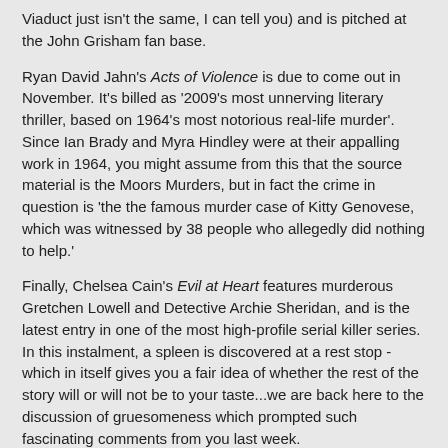Viaduct just isn't the same, I can tell you) and is pitched at the John Grisham fan base.
Ryan David Jahn's Acts of Violence is due to come out in November. It's billed as '2009's most unnerving literary thriller, based on 1964's most notorious real-life murder'. Since Ian Brady and Myra Hindley were at their appalling work in 1964, you might assume from this that the source material is the Moors Murders, but in fact the crime in question is 'the the famous murder case of Kitty Genovese, which was witnessed by 38 people who allegedly did nothing to help.'
Finally, Chelsea Cain's Evil at Heart features murderous Gretchen Lowell and Detective Archie Sheridan, and is the latest entry in one of the most high-profile serial killer series. In this instalment, a spleen is discovered at a rest stop - which in itself gives you a fair idea of whether the rest of the story will or will not be to your taste...we are back here to the discussion of gruesomeness which prompted such fascinating comments from you last week.